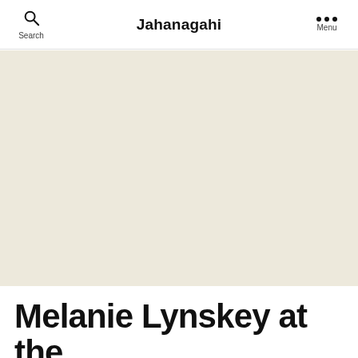Search | Jahanagahi | Menu
[Figure (photo): Large beige/cream colored image area placeholder below the navigation bar]
Melanie Lynskey at the